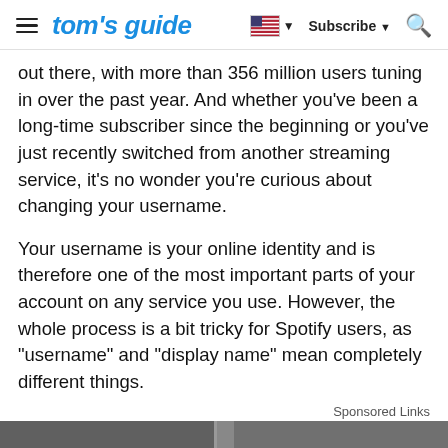tom's guide | Subscribe
out there, with more than 356 million users tuning in over the past year. And whether you've been a long-time subscriber since the beginning or you've just recently switched from another streaming service, it's no wonder you're curious about changing your username.
Your username is your online identity and is therefore one of the most important parts of your account on any service you use. However, the whole process is a bit tricky for Spotify users, as "username" and "display name" mean completely different things.
Sponsored Links
[Figure (photo): Street scene advertisement image showing urban environment with scaffolding]